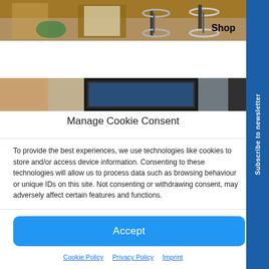[Figure (photo): Photo of a shop exterior with bicycles parked outside, showing doors and plants. 'Shop' label visible in lower right of image.]
[Figure (photo): Photo of a tablet or digital device being held or displayed, with blurred bokeh background.]
Manage Cookie Consent
To provide the best experiences, we use technologies like cookies to store and/or access device information. Consenting to these technologies will allow us to process data such as browsing behaviour or unique IDs on this site. Not consenting or withdrawing consent, may adversely affect certain features and functions.
Accept
Cookie Policy   Privacy Policy   Imprint